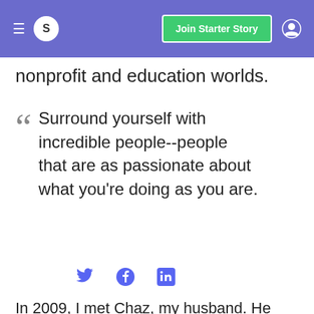S  Join Starter Story
nonprofit and education worlds.
Surround yourself with incredible people--people that are as passionate about what you're doing as you are.
[Figure (other): Social media icons: Twitter bird, Facebook circle, LinkedIn square]
In 2009, I met Chaz, my husband. He was already an entrepreneur in the watch world, operating e-commerce watch stores since the early 2000s. In our first